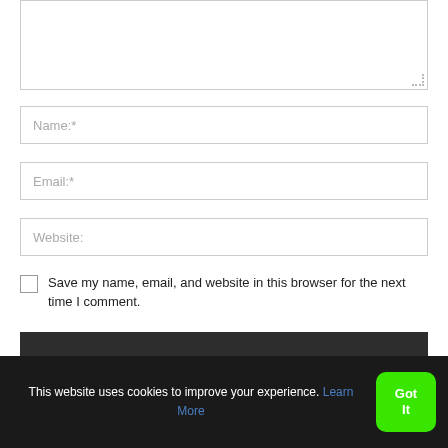[Figure (screenshot): A web comment form section showing a textarea (partially visible at top), followed by Name, Email, and Website input fields, a checkbox with label 'Save my name, email, and website in this browser for the next time I comment.', and a dark submit button area partially visible. At the bottom is a cookie consent banner reading 'This website uses cookies to improve your experience. Learn More' with a green 'Got It' button.]